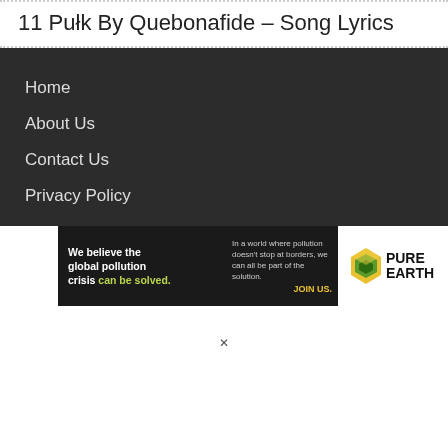11 Pułk By Quebonafide – Song Lyrics
Home
About Us
Contact Us
Privacy Policy
[Figure (infographic): Pure Earth advertisement banner: 'We believe the global pollution crisis can be solved. In a world where pollution doesn't stop at borders, we can all be part of the solution. JOIN US.' with Pure Earth diamond logo.]